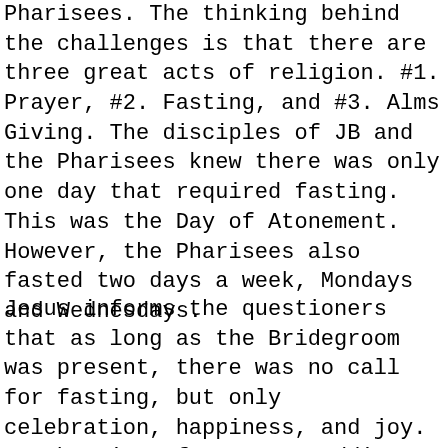Pharisees.  The thinking behind the challenges is that there are three great acts of religion.  #1.  Prayer, #2.  Fasting, and #3. Alms Giving.  The disciples of JB and the Pharisees  knew there was only one day that required fasting.  This was the Day of Atonement.  However, the Pharisees also fasted two days a week, Mondays and Wednesdays.
Jesus informs the questioners that as long as the Bridegroom was present, there was no call for fasting, but only celebration, happiness, and joy. In the time of Jesus a wedding celebration could last a whole week.  During this period the bridal party and the guests